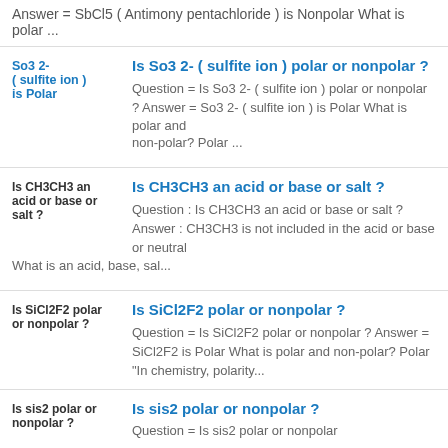Answer  = SbCl5 ( Antimony pentachloride ) is  Nonpolar What is polar ...
Is So3 2- ( sulfite ion ) polar or nonpolar ?  Question  = Is So3 2- ( sulfite ion ) polar or nonpolar ? Answer  = So3 2- ( sulfite ion ) is  Polar What is polar and non-polar? Polar ...
Is CH3CH3 an acid or base or salt ?  Question :  Is CH3CH3 an acid or base or salt ? Answer :  CH3CH3 is not included in the acid or base or neutral What is an acid, base, sal...
Is SiCl2F2 polar or nonpolar ?  Question =  Is SiCl2F2 polar or nonpolar  ? Answer =  SiCl2F2 is  Polar What is polar and non-polar? Polar "In chemistry, polarity...
Is sis2 polar or nonpolar ?  Question =  Is sis2 polar or  nonpolar